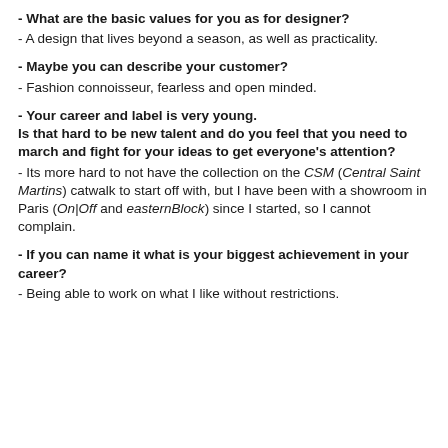- What are the basic values for you as for designer?
- A design that lives beyond a season, as well as practicality.
- Maybe you can describe your customer?
- Fashion connoisseur, fearless and open minded.
- Your career and label is very young. Is that hard to be new talent and do you feel that you need to march and fight for your ideas to get everyone's attention?
- Its more hard to not have the collection on the CSM (Central Saint Martins) catwalk to start off with, but I have been with a showroom in Paris (On|Off and easternBlock) since I started, so I cannot complain.
- If you can name it what is your biggest achievement in your career?
- Being able to work on what I like without restrictions.